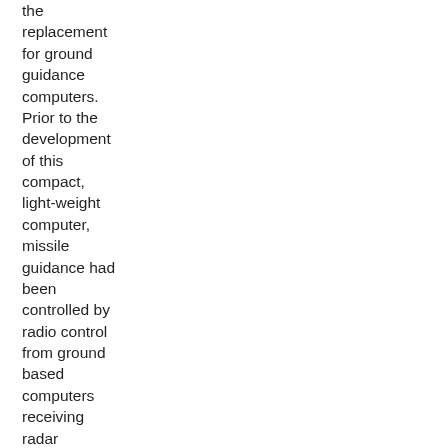the replacement for ground guidance computers. Prior to the development of this compact, light-weight computer, missile guidance had been controlled by radio control from ground based computers receiving radar positional data inputs, and sending correctional data back to the missile. The ground based computers, used from the